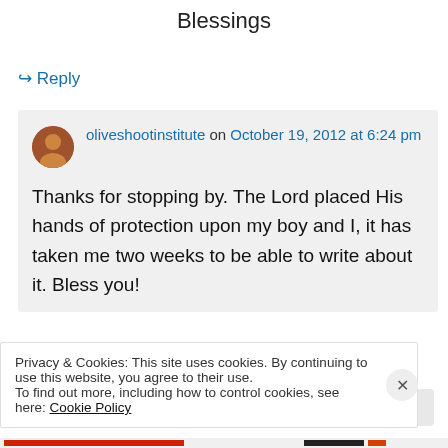Blessings
↪ Reply
oliveshootinstitute on October 19, 2012 at 6:24 pm
Thanks for stopping by. The Lord placed His hands of protection upon my boy and I, it has taken me two weeks to be able to write about it. Bless you!
Privacy & Cookies: This site uses cookies. By continuing to use this website, you agree to their use. To find out more, including how to control cookies, see here: Cookie Policy
Close and accept